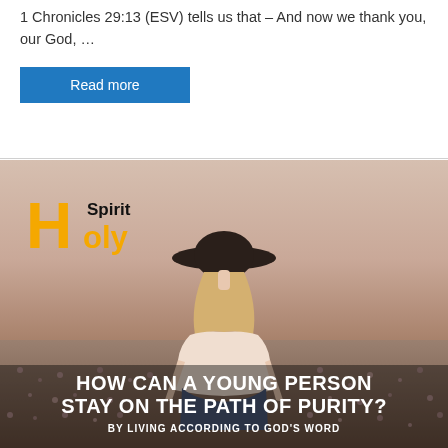1 Chronicles 29:13 (ESV) tells us that – And now we thank you, our God, …
Read more
[Figure (illustration): Holy Spirit branded image showing a young woman from behind wearing a wide-brim hat and standing in a field of flowers. The logo reads 'H Spirit oly' (Holy Spirit) in yellow and black. Bottom text reads 'HOW CAN A YOUNG PERSON STAY ON THE PATH OF PURITY? BY LIVING ACCORDING TO GOD'S WORD']